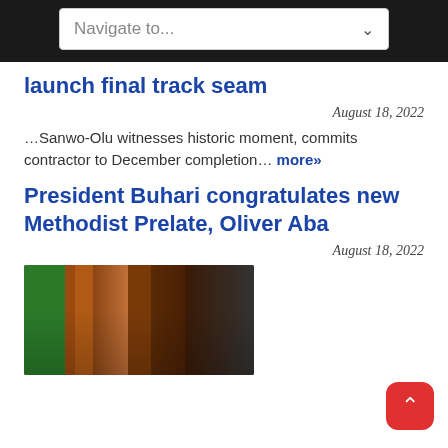Navigate to...
launch final track seam
August 18, 2022
…Sanwo-Olu witnesses historic moment, commits contractor to December completion… more»
President Buhari congratulates new Methodist Prelate, Oliver Aba
August 18, 2022
[Figure (photo): Photo of President Buhari with officials, Nigerian coat of arms visible in background, Nigerian flag on the left]